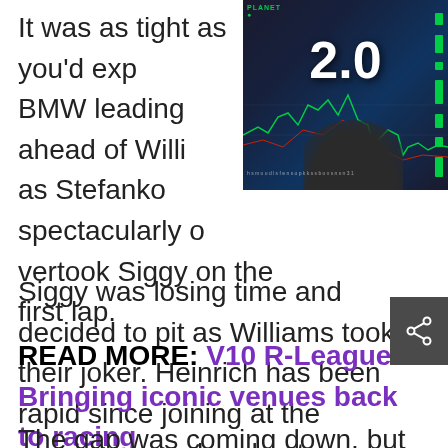[Figure (screenshot): Screenshot of a trading platform (Planet) showing a stock chart with the number '2.0' displayed prominently in white on a dark background with green and red candlestick chart lines. A person's silhouette is visible in the foreground.]
It was as tight as you'd exp BMW leading ahead of Willi as Stefanko spectacularly overtook Siggy on the first lap.
Siggy was losing time and decided to pit as Williams took their joker. Heinrich has been rapid since joining at the previous round and put pressure on Brzezinski in the second stint.
READ MORE: V10 R-League: Bringing iconic venues back to racing
The gap was coming down, but Williams still led